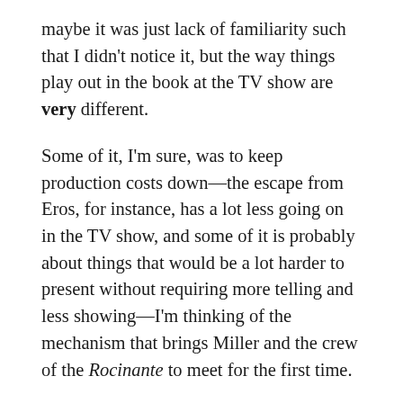maybe it was just lack of familiarity such that I didn't notice it, but the way things play out in the book at the TV show are very different.
Some of it, I'm sure, was to keep production costs down—the escape from Eros, for instance, has a lot less going on in the TV show, and some of it is probably about things that would be a lot harder to present without requiring more telling and less showing—I'm thinking of the mechanism that brings Miller and the crew of the Rocinante to meet for the first time.
There were a number of things that were setup for events that happen in later books (I'm thinking of Naomi and Fred's interactions here), and introducing Chrisjen Avasarala earlier was something of a no-brainer given how great she is in the books, and how important she becomes